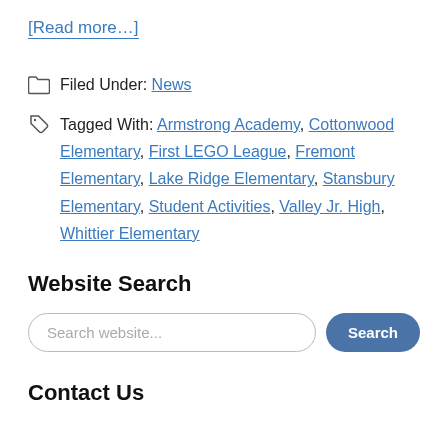[Read more…]
Filed Under: News
Tagged With: Armstrong Academy, Cottonwood Elementary, First LEGO League, Fremont Elementary, Lake Ridge Elementary, Stansbury Elementary, Student Activities, Valley Jr. High, Whittier Elementary
Website Search
Search website...
Contact Us